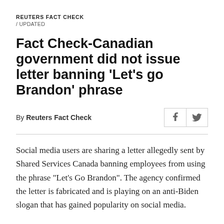REUTERS FACT CHECK / UPDATED
Fact Check-Canadian government did not issue letter banning 'Let's go Brandon' phrase
By Reuters Fact Check
Social media users are sharing a letter allegedly sent by Shared Services Canada banning employees from using the phrase “Let’s Go Brandon”. The agency confirmed the letter is fabricated and is playing on an anti-Biden slogan that has gained popularity on social media.